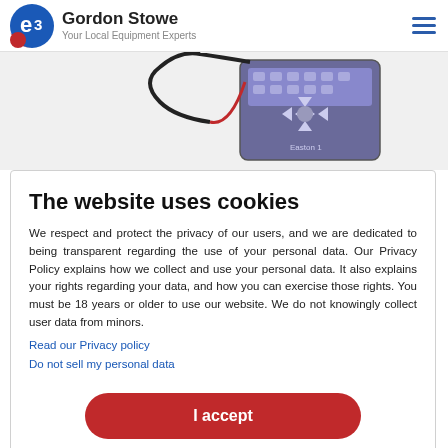Gordon Stowe — Your Local Equipment Experts
[Figure (photo): Electronic testing device/equipment with cables and keypad, partially visible at top of page]
The website uses cookies
We respect and protect the privacy of our users, and we are dedicated to being transparent regarding the use of your personal data. Our Privacy Policy explains how we collect and use your personal data. It also explains your rights regarding your data, and how you can exercise those rights. You must be 18 years or older to use our website. We do not knowingly collect user data from minors.
Read our Privacy policy
Do not sell my personal data
I accept
Powered by:
Cookie Information